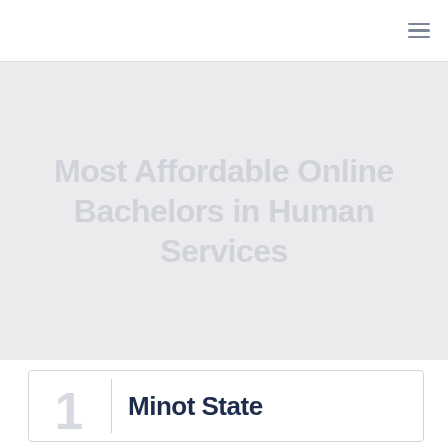≡
Most Affordable Online Bachelors in Human Services
Minot State